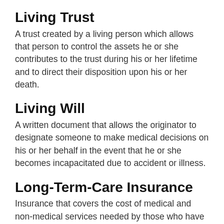Living Trust
A trust created by a living person which allows that person to control the assets he or she contributes to the trust during his or her lifetime and to direct their disposition upon his or her death.
Living Will
A written document that allows the originator to designate someone to make medical decisions on his or her behalf in the event that he or she becomes incapacitated due to accident or illness.
Long-Term-Care Insurance
Insurance that covers the cost of medical and non-medical services needed by those who have a chronic illness or disability—most commonly associated with aging. Long-term-care insurance can cover the cost of nursing home care, in-home assistance, assisted living, and adult day care.